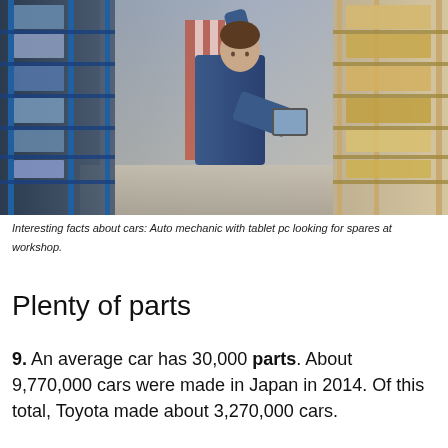[Figure (photo): Auto mechanic in blue coveralls reaching for items on a parts shelf in a warehouse/workshop, holding a tablet pc. Shelves with parts boxes visible on both sides.]
Interesting facts about cars: Auto mechanic with tablet pc looking for spares at workshop.
Plenty of parts
9. An average car has 30,000 parts. About 9,770,000 cars were made in Japan in 2014. Of this total, Toyota made about 3,270,000 cars.